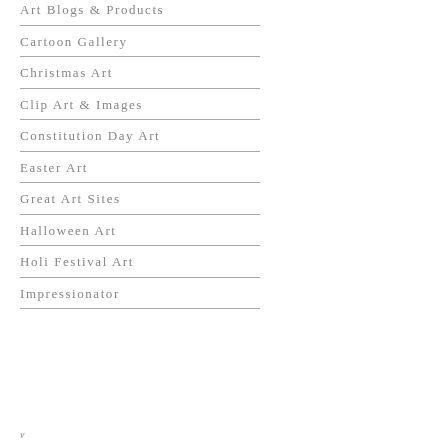Art Blogs & Products
Cartoon Gallery
Christmas Art
Clip Art & Images
Constitution Day Art
Easter Art
Great Art Sites
Halloween Art
Holi Festival Art
Impressionator
v